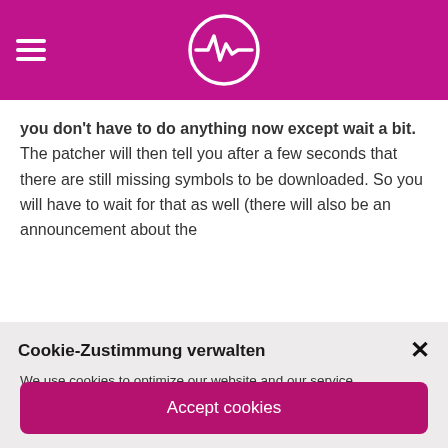[Figure (logo): Magenta/pink header bar with hamburger menu icon on the left and a circular logo with a heartbeat/waveform symbol in the center]
you don't have to do anything now except wait a bit. The patcher will then tell you after a few seconds that there are still missing symbols to be downloaded. So you will have to wait for that as well (there will also be an announcement about the
Cookie-Zustimmung verwalten
We use cookies to optimize our website and our service.
Accept cookies
Functional cookies only
Show settings